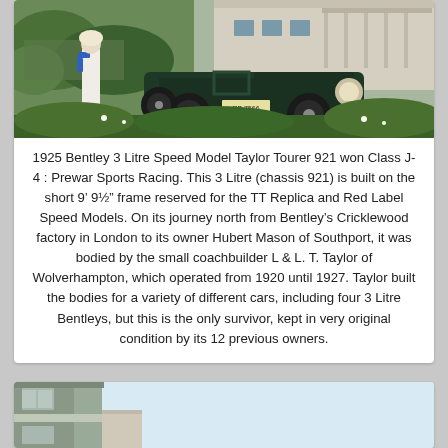[Figure (photo): Vintage dark green Bentley 3 Litre roadster with license plate RB 7566, a woman in white dress with blue ribbon walking in front, garden and building in background]
1925 Bentley 3 Litre Speed Model Taylor Tourer 921 won Class J-4 : Prewar Sports Racing. This 3 Litre (chassis 921) is built on the short 9’ 9½” frame reserved for the TT Replica and Red Label Speed Models. On its journey north from Bentley’s Cricklewood factory in London to its owner Hubert Mason of Southport, it was bodied by the small coachbuilder L & L. T. Taylor of Wolverhampton, which operated from 1920 until 1927. Taylor built the bodies for a variety of different cars, including four 3 Litre Bentleys, but this is the only survivor, kept in very original condition by its 12 previous owners.
[Figure (photo): Partial view of a building exterior with windows against a light sky, bottom portion of page]